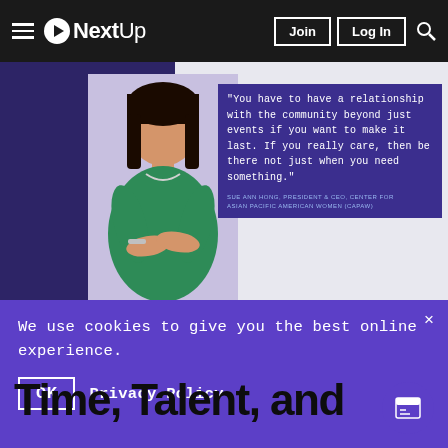NextUp — navigation bar with Join, Log In, Search
[Figure (photo): Woman in green top with arms crossed, Sue Ann Hong, President & CEO, Center for Asian Pacific American Women (CAPAW), with quote overlay on dark purple background]
"You have to have a relationship with the community beyond just events if you want to make it last. If you really care, then be there not just when you need something." SUE ANN HONG, PRESIDENT & CEO, CENTER FOR ASIAN PACIFIC AMERICAN WOMEN (CAPAW)
We use cookies to give you the best online experience.
OK   Privacy Policy
Time, Talent, and